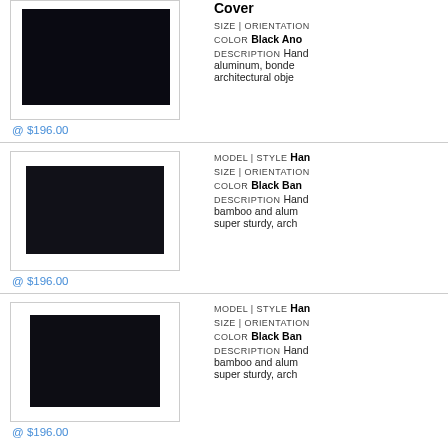[Figure (photo): Black rectangular panel product image, landscape orientation, dark background]
@ $196.00
Cover
SIZE | ORIENTATION
COLOR Black Ano
DESCRIPTION Hand aluminum, bonde architectural obje
[Figure (photo): Black rectangular panel product image, landscape orientation, dark background]
@ $196.00
MODEL | STYLE Han
SIZE | ORIENTATION
COLOR Black Ban
DESCRIPTION Hand bamboo and alum super sturdy, arch
[Figure (photo): Black square panel product image, dark background]
@ $196.00
MODEL | STYLE Han
SIZE | ORIENTATION
COLOR Black Ban
DESCRIPTION Hand bamboo and alum super sturdy, arch
Displaying 41 to 50 (of 396 new products)